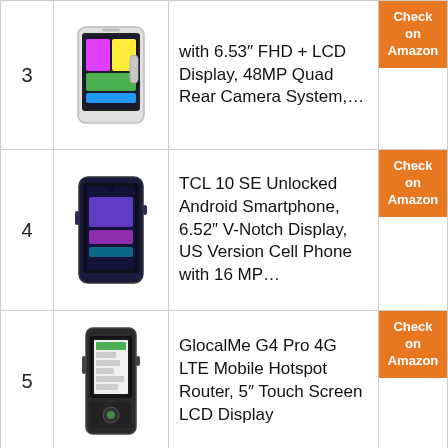3 — with 6.53″ FHD + LCD Display, 48MP Quad Rear Camera System,…
4 — TCL 10 SE Unlocked Android Smartphone, 6.52″ V-Notch Display, US Version Cell Phone with 16 MP…
5 — GlocalMe G4 Pro 4G LTE Mobile Hotspot Router, 5″ Touch Screen LCD Display